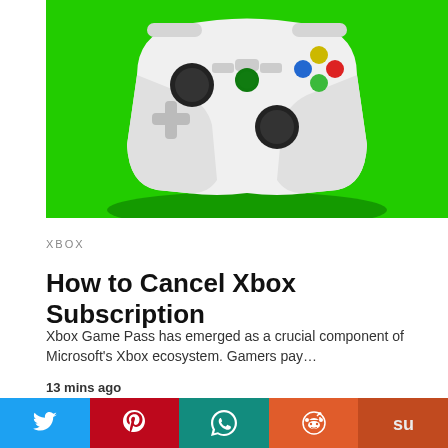[Figure (photo): White Xbox controller on bright green background]
XBOX
How to Cancel Xbox Subscription
Xbox Game Pass has emerged as a crucial component of Microsoft's Xbox ecosystem. Gamers pay…
13 mins ago
[Figure (photo): Hands holding Nintendo Switch Joy-Con controllers (blue and red) with video play button overlay]
Twitter | Pinterest | WhatsApp | Reddit | StumbleUpon social share buttons